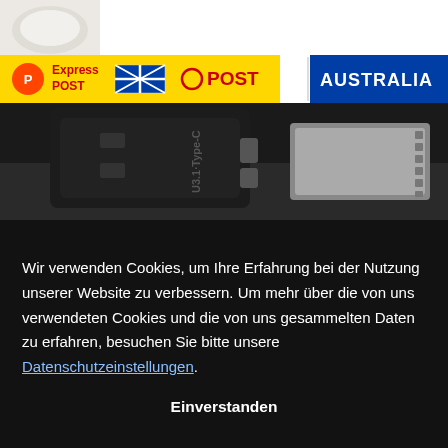[Figure (photo): Small product photo in top-left corner showing a white rounded object on light background]
[Figure (logo): Express Post Australia Post banner with yellow background, red text 'Express POST', Australian flag, red 'O POST' text and blue 'AUSTRALIA' section]
[Figure (photo): Close-up photo of a black electronic device (appears to be a USB or data connector/adapter) with silver metallic contacts, showing text 'U3.1 Type-C' rotated, on dark background]
Wir verwenden Cookies, um Ihre Erfahrung bei der Nutzung unserer Website zu verbessern. Um mehr über die von uns verwendeten Cookies und die von uns gesammelten Daten zu erfahren, besuchen Sie bitte unsere Datenschutzeinstellungen.
Einverstanden